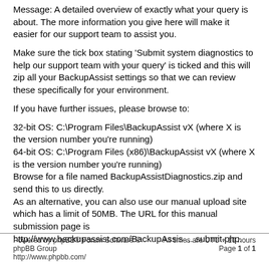Message: A detailed overview of exactly what your query is about. The more information you give here will make it easier for our support team to assist you.
Make sure the tick box stating 'Submit system diagnostics to help our support team with your query' is ticked and this will zip all your BackupAssist settings so that we can review these specifically for your environment.
If you have further issues, please browse to:
32-bit OS: C:\Program Files\BackupAssist vX (where X is the version number you're running)
64-bit OS: C:\Program Files (x86)\BackupAssist vX (where X is the version number you're running)
Browse for a file named BackupAssistDiagnostics.zip and send this to us directly.
As an alternative, you can also use our manual upload site which has a limit of 50MB. The URL for this manual submission page is http://www.backupassist.com/BackupAssis ... submit.php.
Powered by phpBB® Forum Software © phpBB Group
http://www.phpbb.com/
All times are UTC + 10 hours
Page 1 of 1